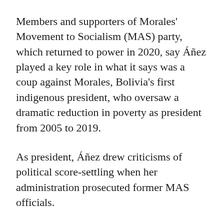Members and supporters of Morales' Movement to Socialism (MAS) party, which returned to power in 2020, say Áñez played a key role in what it says was a coup against Morales, Bolivia's first indigenous president, who oversaw a dramatic reduction in poverty as president from 2005 to 2019.
As president, Áñez drew criticisms of political score-settling when her administration prosecuted former MAS officials.
Áñez's supporters say her trial was illegitimate and political. In the trial, Áñez said she was the product of circumstance and that her ascension